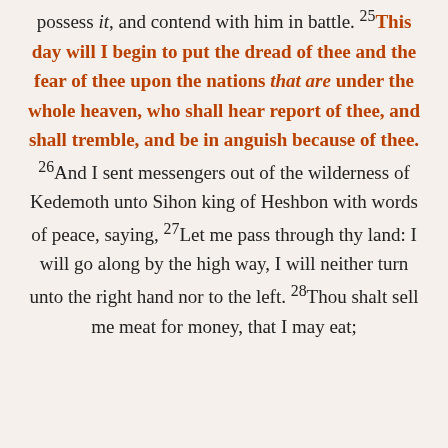possess it, and contend with him in battle. 25 This day will I begin to put the dread of thee and the fear of thee upon the nations that are under the whole heaven, who shall hear report of thee, and shall tremble, and be in anguish because of thee. 26 And I sent messengers out of the wilderness of Kedemoth unto Sihon king of Heshbon with words of peace, saying, 27 Let me pass through thy land: I will go along by the high way, I will neither turn unto the right hand nor to the left. 28 Thou shalt sell me meat for money, that I may eat;